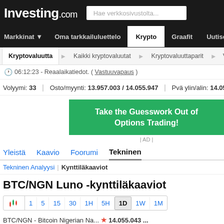Investing.com — Hae verkkosivustolta...
Markkinat  Oma tarkkailuluettelo  Krypto  Graafit  Uutiset
Kryptovaluutta  Kaikki kryptovaluutat  Kryptovaluuttaparit  Valuuttamuun...
06:12:23 - Reaalaikatiedot. ( Vastuuvapaus )
Volyymi: 33  |  Osto/myynti: 13.957.003 / 14.055.947  |  Pvä ylin/alin: 14.055.043 -
[Figure (screenshot): Green advertisement banner: Take the Guesswork Out of Options Trading! | AD |]
Yleistä  Kaavio  Foorumi  Tekninen
Tekninen Analyysi  |  Kynttiläkaaviot
BTC/NGN Luno -kynttiläkaaviot
candlestick icon  1  5  15  30  1H  5H  1D  1W  1M
BTC/NGN - Bitcoin Nigerian Na... ★ 14.055.043 ...